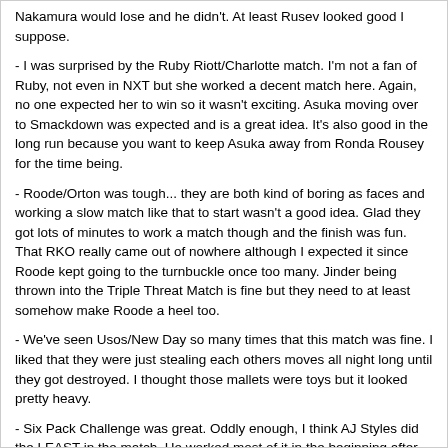Nakamura would lose and he didn't. At least Rusev looked good I suppose.
- I was surprised by the Ruby Riott/Charlotte match. I'm not a fan of Ruby, not even in NXT but she worked a decent match here. Again, no one expected her to win so it wasn't exciting. Asuka moving over to Smackdown was expected and is a great idea. It's also good in the long run because you want to keep Asuka away from Ronda Rousey for the time being.
- Roode/Orton was tough... they are both kind of boring as faces and working a slow match like that to start wasn't a good idea. Glad they got lots of minutes to work a match though and the finish was fun. That RKO really came out of nowhere although I expected it since Roode kept going to the turnbuckle once too many. Jinder being thrown into the Triple Threat Match is fine but they need to at least somehow make Roode a heel too.
- We've seen Usos/New Day so many times that this match was fine. I liked that they were just stealing each others moves all night long until they got destroyed. I thought those mallets were toys but it looked pretty heavy.
- Six Pack Challenge was great. Oddly enough, I think AJ Styles did the LEAST in the match. He worked most of it in the beginning after Cena gave everyone the AA, but that was about it. He took that table spot and laid there dead forever until the finish. But everyone got a chance to look good and they got their moves in. I really love Corbin's Deep Six move. It looks so damn beautiful.
ah once again I loved a Rusev Day chant breaking out during the women's match last night...
One other quick thought:
Strowman entering and winning the "tag team" battle royal sure doesn't do much to give credibility to the raw tag teams does it? Do we really think he'll take on the bar by himself, or will he walk with elias......
Bring back Ellsworth to be Strowman's tag partner! :lol:
But you're right.. it'll probably be Elias Sampson. I think Samoa Joe is due back soon from his injury too but would you put him win Braun? That's just overkill